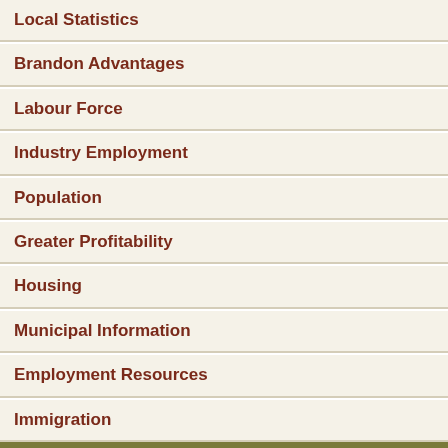Local Statistics
Brandon Advantages
Labour Force
Industry Employment
Population
Greater Profitability
Housing
Municipal Information
Employment Resources
Immigration
Economic Development Brandon
City of Brandon
410-9th Street
Brandon, MB R7A 6A2